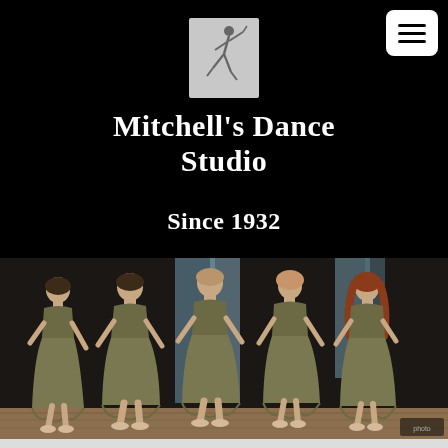[Figure (logo): Dancer silhouette logo for Mitchell's Dance Studio on grey/silver background]
Mitchell's Dance Studio
Since 1932
[Figure (photo): Five female dancers in olive/gold dresses holding hands on stage during a performance, taking a bow.]